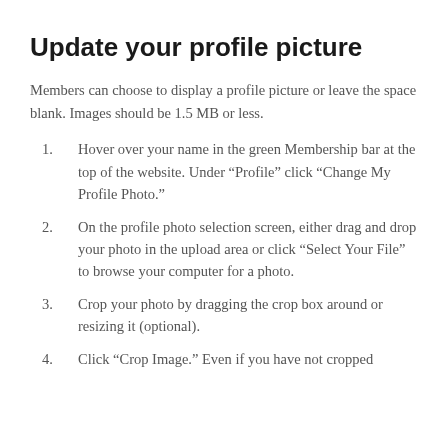Update your profile picture
Members can choose to display a profile picture or leave the space blank. Images should be 1.5 MB or less.
Hover over your name in the green Membership bar at the top of the website. Under “Profile” click “Change My Profile Photo.”
On the profile photo selection screen, either drag and drop your photo in the upload area or click “Select Your File” to browse your computer for a photo.
Crop your photo by dragging the crop box around or resizing it (optional).
Click “Crop Image.” Even if you have not cropped